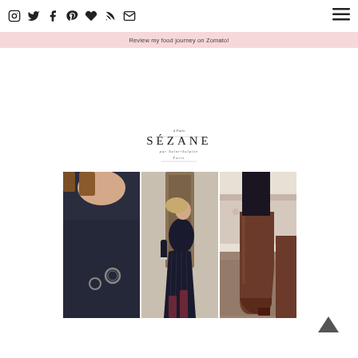Social media icons and navigation menu
Review my food journey on Zomato!
[Figure (logo): Sézane brand logo with French text below]
[Figure (photo): Three fashion photos side by side: close-up of dark navy top with ring detail, woman in black pleated skirt and dark sweater, close-up of brown knee-high boot]
[Figure (other): Back to top arrow button]